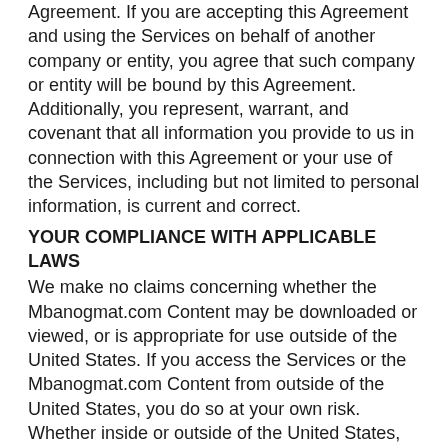Agreement. If you are accepting this Agreement and using the Services on behalf of another company or entity, you agree that such company or entity will be bound by this Agreement. Additionally, you represent, warrant, and covenant that all information you provide to us in connection with this Agreement or your use of the Services, including but not limited to personal information, is current and correct.
YOUR COMPLIANCE WITH APPLICABLE LAWS
We make no claims concerning whether the Mbanogmat.com Content may be downloaded or viewed, or is appropriate for use outside of the United States. If you access the Services or the Mbanogmat.com Content from outside of the United States, you do so at your own risk. Whether inside or outside of the United States, you are solely responsible for ensuring compliance with the laws of your specific jurisdiction.
The United States controls the export of products and information. You expressly agree to comply with such restrictions and not to export or re-export any of the Mbanogmat.com Content to countries or persons prohibited under the export control laws. By downloading